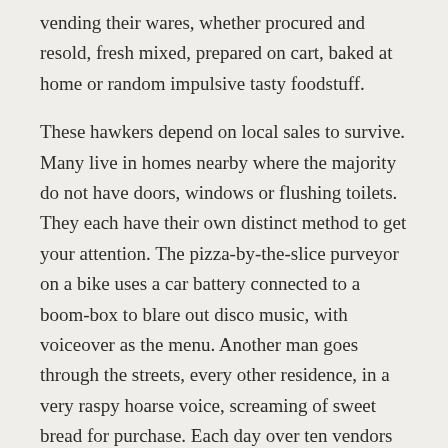vending their wares, whether procured and resold, fresh mixed, prepared on cart, baked at home or random impulsive tasty foodstuff.
These hawkers depend on local sales to survive. Many live in homes nearby where the majority do not have doors, windows or flushing toilets. They each have their own distinct method to get your attention. The pizza-by-the-slice purveyor on a bike uses a car battery connected to a boom-box to blare out disco music, with voiceover as the menu. Another man goes through the streets, every other residence, in a very raspy hoarse voice, screaming of sweet bread for purchase. Each day over ten vendors would pass.
The complex was filled with affable guests from all